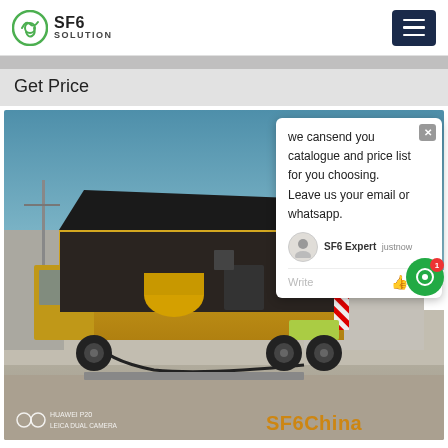SF6 SOLUTION
Get Price
[Figure (photo): A yellow specialized truck with open rear compartment revealing industrial SF6 gas equipment, photographed on a gravel lot with a building in the background and blue sky. The truck has hazard stripes on the rear. Watermark reads 'SF6China' in orange bottom-right, and 'HUAWEI P20 LEICA DUAL CAMERA' in white bottom-left.]
we cansend you catalogue and price list for you choosing. Leave us your email or whatsapp.
SF6 Expert  justnow
Write